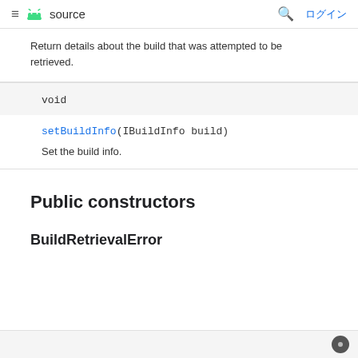≡ 🤖 source   🔍 ログイン
Return details about the build that was attempted to be retrieved.
void
setBuildInfo(IBuildInfo build)
Set the build info.
Public constructors
BuildRetrievalError